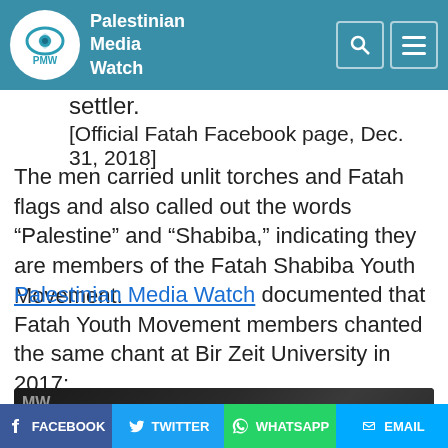Palestinian Media Watch
settler.
[Official Fatah Facebook page, Dec. 31, 2018]
The men carried unlit torches and Fatah flags and also called out the words “Palestine” and “Shabiba,” indicating they are members of the Fatah Shabiba Youth Movement.
Palestinian Media Watch documented that Fatah Youth Movement members chanted the same chant at Bir Zeit University in 2017:
[Figure (screenshot): Video thumbnail showing PMW logo on left with text 'Fatah student movement chan...' and crowd scene in background]
FACEBOOK  TWITTER  WHATSAPP  EMAIL